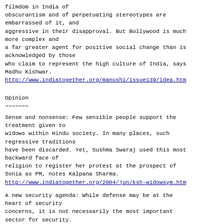filmdom in India of
obscurantism and of perpetuating stereotypes are embarrassed of it, and
aggressive in their disapproval. But Bollywood is much more complex and
a far greater agent for positive social change than is acknowledged by those
who claim to represent the high culture of India, says Madhu Kishwar.
http://www.indiatogether.org/manushi/issue139/idea.htm
Opinion
~~~~~~~
Sense and nonsense: Few sensible people support the treatment given to
widows within Hindu society. In many places, such regressive traditions
have been discarded. Yet, Sushma Swaraj used this most backward face of
religion to register her protest at the prospect of Sonia as PM, notes Kalpana Sharma.
http://www.indiatogether.org/2004/jun/ksh-widowsym.htm
A new security agenda: While defense may be at the heart of security
concerns, it is not necessarily the most important sector for security.
The Congress-led government must demonstrate its